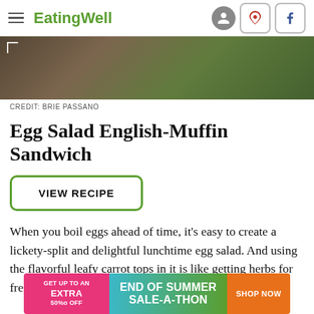EatingWell
[Figure (photo): Close-up photo of an egg salad English muffin sandwich on a plate, top portion visible]
CREDIT: BRIE PASSANO
Egg Salad English-Muffin Sandwich
VIEW RECIPE
When you boil eggs ahead of time, it's easy to create a lickety-split and delightful lunchtime egg salad. And using the flavorful leafy carrot tops in it is like getting herbs for free.
[Figure (infographic): Ad banner: GET UP TO AN EXTRA 50% OFF | END OF SUMMER SALE-A-THON | SHOP NOW]